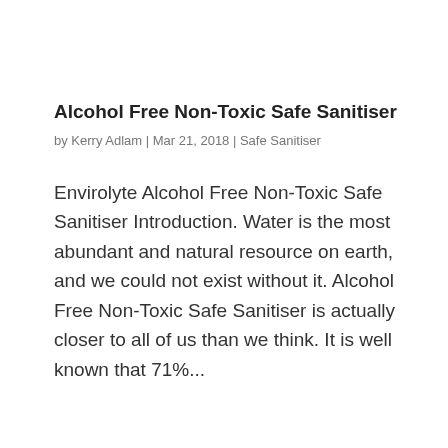Alcohol Free Non-Toxic Safe Sanitiser
by Kerry Adlam | Mar 21, 2018 | Safe Sanitiser
Envirolyte Alcohol Free Non-Toxic Safe Sanitiser Introduction. Water is the most abundant and natural resource on earth, and we could not exist without it. Alcohol Free Non-Toxic Safe Sanitiser is actually closer to all of us than we think. It is well known that 71%...